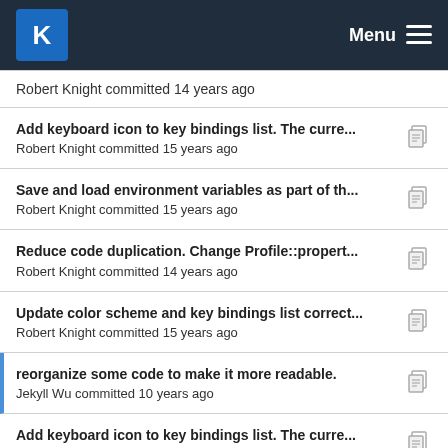KDE Menu
Robert Knight committed 14 years ago
Add keyboard icon to key bindings list. The curre... | Robert Knight committed 15 years ago
Save and load environment variables as part of th... | Robert Knight committed 15 years ago
Reduce code duplication. Change Profile::propert... | Robert Knight committed 14 years ago
Update color scheme and key bindings list correct... | Robert Knight committed 15 years ago
reorganize some code to make it more readable. | Jekyll Wu committed 10 years ago
Add keyboard icon to key bindings list. The curre... | Robert Knight committed 15 years ago
Update color scheme and key bindings list correct... | Robert Knight committed 15 years ago